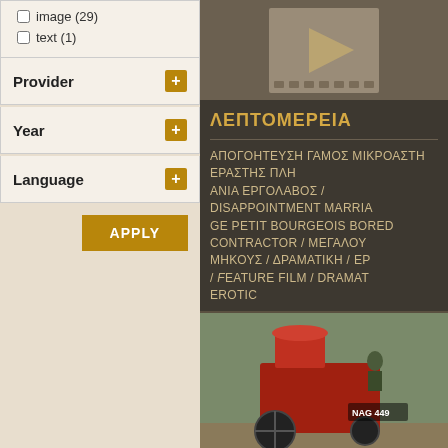image (29)
text (1)
Provider
Year
Language
APPLY
[Figure (photo): Video thumbnail placeholder with play button icon on dark beige background]
ΛΕΠΤΟΜΕΡΕΙΑ
ΑΠΟΓΟΗΤΕΥΣΗ ΓΑΜΟΣ ΜΙΚΡΟΑΣΤΗ ΕΡΑΣΤΗΣ ΠΛΗ ΑΝΙΑ ΕΡΓΟΛΑΒΟΣ / DISAPPOINTMENT MARRIA PETIT BOURGEOIS BORED CONTRACTOR / ΜΕΓΑΛΟΥ ΜΗΚΟΥΣ / ΔΡΑΜΑΤΙΚΗ / ΕΡ / FEATURE FILM / DRAMAT EROTIC
[Figure (photo): Photo of a red agricultural machine/tractor with NAG 449 visible, outdoors in a field]
(EXTRACTS FROM)